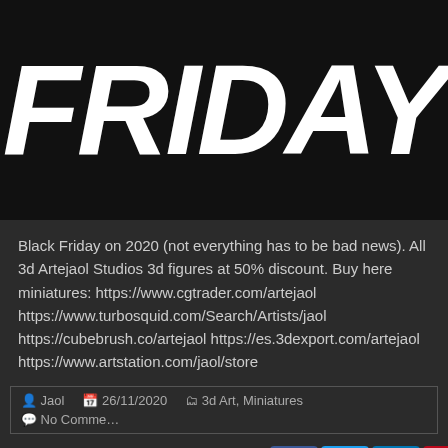[Figure (illustration): Black banner with large white bold italic text reading FRIDAY]
Black Friday on 2020 (not everything has to be bad news). All 3d Artejaol Studios 3d figures at 50% discount. Buy here miniatures: https://www.cgtrader.com/artejaol https://www.turbosquid.com/Search/Artists/jaol https://cubebrush.co/artejaol https://es.3dexport.com/artejaol https://www.artstation.com/jaol/store
Jaol  26/11/2020  3d Art, Miniatures  No Comments